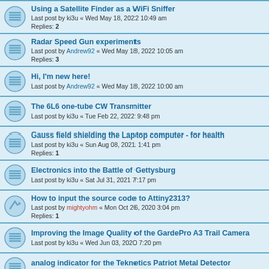Using a Satellite Finder as a WiFi Sniffer
Last post by ki3u « Wed May 18, 2022 10:49 am
Replies: 2
Radar Speed Gun experiments
Last post by Andrew92 « Wed May 18, 2022 10:05 am
Replies: 3
Hi, I'm new here!
Last post by Andrew92 « Wed May 18, 2022 10:00 am
The 6L6 one-tube CW Transmitter
Last post by ki3u « Tue Feb 22, 2022 9:48 pm
Gauss field shielding the Laptop computer - for health
Last post by ki3u « Sun Aug 08, 2021 1:41 pm
Replies: 1
Electronics into the Battle of Gettysburg
Last post by ki3u « Sat Jul 31, 2021 7:17 pm
How to input the source code to Attiny2313?
Last post by mightyohm « Mon Oct 26, 2020 3:04 pm
Replies: 1
Improving the Image Quality of the GardePro A3 Trail Camera
Last post by ki3u « Wed Jun 03, 2020 7:20 pm
analog indicator for the Teknetics Patriot Metal Detector
Last post by ki3u « Wed Apr 08, 2020 8:31 pm
Pancake GM Probe with CDV-700 : simple BNC adapter
Last post by ki3u « Mon Dec 09, 2019 7:25 am